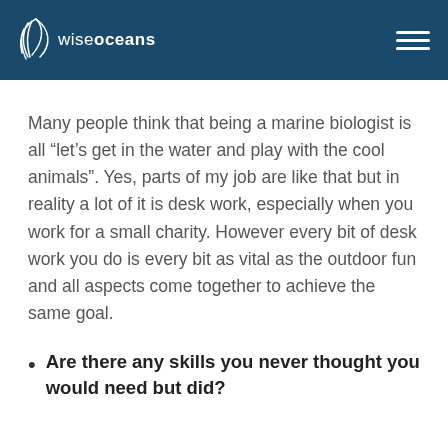wiseoceans
Many people think that being a marine biologist is all “let’s get in the water and play with the cool animals”. Yes, parts of my job are like that but in reality a lot of it is desk work, especially when you work for a small charity. However every bit of desk work you do is every bit as vital as the outdoor fun and all aspects come together to achieve the same goal.
Are there any skills you never thought you would need but did?
Maybe an ability to problem solve...